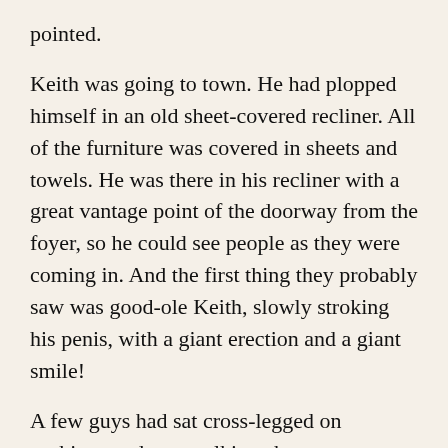pointed.
Keith was going to town. He had plopped himself in an old sheet-covered recliner. All of the furniture was covered in sheets and towels. He was there in his recliner with a great vantage point of the doorway from the foyer, so he could see people as they were coming in. And the first thing they probably saw was good-ole Keith, slowly stroking his penis, with a giant erection and a giant smile!
A few guys had sat cross-legged on cushions and were talking about motorcycles as some stroked themselves, and others just sat there, not touching themselves yet. Some were as soft as me, others were sporting erections. I joined this group, and as